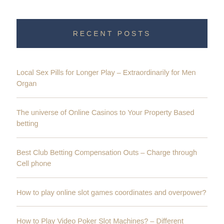RECENT POSTS
Local Sex Pills for Longer Play – Extraordinarily for Men Organ
The universe of Online Casinos to Your Property Based betting
Best Club Betting Compensation Outs – Charge through Cell phone
How to play online slot games coordinates and overpower?
How to Play Video Poker Slot Machines? – Different Thoughts